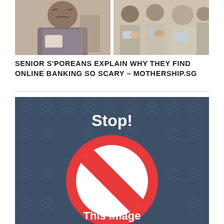[Figure (photo): Two side-by-side photos: left shows a woman looking concerned at her phone, right shows multiple people looking at their phones together]
SENIOR S'POREANS EXPLAIN WHY THEY FIND ONLINE BANKING SO SCARY – MOTHERSHIP.SG
[Figure (illustration): Dark blue-gray background with repeating pattern of arrows/chevrons. Large white bold text 'Stop!' at top center. Below is a large red prohibition/no symbol (circle with diagonal slash through it). Partial white text 'This image' visible at the bottom.]